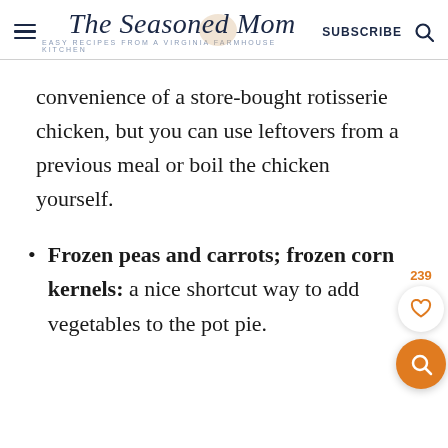The Seasoned Mom — EASY RECIPES FROM A VIRGINIA FARMHOUSE KITCHEN — SUBSCRIBE
convenience of a store-bought rotisserie chicken, but you can use leftovers from a previous meal or boil the chicken yourself.
Frozen peas and carrots; frozen corn kernels: a nice shortcut way to add vegetables to the pot pie.